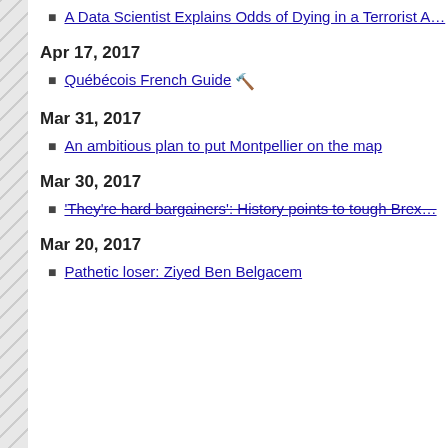A Data Scientist Explains Odds of Dying in a Terrorist A…
Apr 17, 2017
Québécois French Guide 🔧
Mar 31, 2017
An ambitious plan to put Montpellier on the map
Mar 30, 2017
'They're hard bargainers': History points to tough Brex…
Mar 20, 2017
Pathetic loser: Ziyed Ben Belgacem